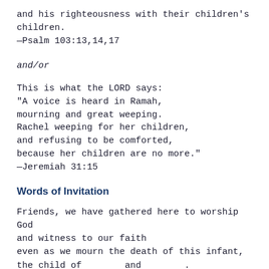and his righteousness with their children's children.
—Psalm 103:13,14,17
and/or
This is what the LORD says:
"A voice is heard in Ramah,
mourning and great weeping.
Rachel weeping for her children,
and refusing to be comforted,
because her children are no more."
—Jeremiah 31:15
Words of Invitation
Friends, we have gathered here to worship God
and witness to our faith
even as we mourn the death of this infant,
the child of _________ and _________.
We come together in grief, acknowledging our human
loss.